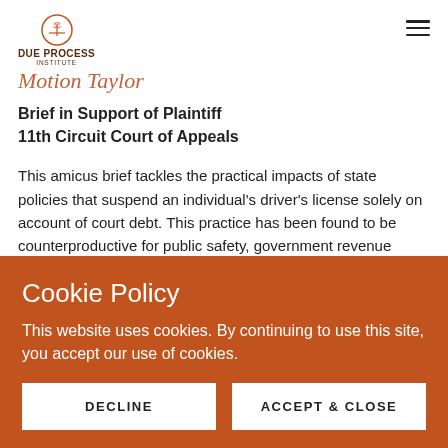Due Process Institute
Motion Taylor
Brief in Support of Plaintiff
11th Circuit Court of Appeals
This amicus brief tackles the practical impacts of state policies that suspend an individual's driver's license solely on account of court debt. This practice has been found to be counterproductive for public safety, government revenue collection, and local economic growth. This brief summarizes the body of recent
Cookie Policy
This website uses cookies. By continuing to use this site, you accept our use of cookies.
DECLINE
ACCEPT & CLOSE